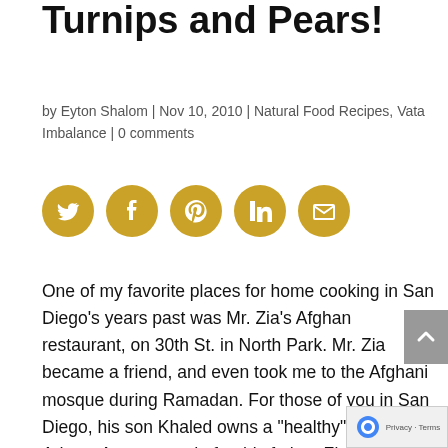Turnips and Pears!
by Eyton Shalom | Nov 10, 2010 | Natural Food Recipes, Vata Imbalance | 0 comments
[Figure (infographic): Five golden circular social media share buttons: Twitter, Facebook, Pinterest, LinkedIn, Email]
One of my favorite places for home cooking in San Diego’s years past was Mr. Zia’s Afghan restaurant, on 30th St. in North Park. Mr. Zia became a friend, and even took me to the Afghani mosque during Ramadan. For those of you in San Diego, his son Khaled owns a “healthy” pizzeria on Adams Ave., named after his father, Zia’s, and has lots of vegan choices.